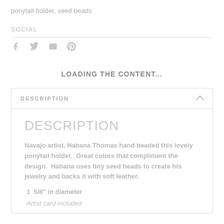ponytail holder, seed beads
SOCIAL
[Figure (infographic): Row of social media icons: Facebook, Twitter, Email, Pinterest in light gray]
LOADING THE CONTENT...
DESCRIPTION
DESCRIPTION
Navajo artist, Habana Thomas hand beaded this lovely ponytail holder.  Great colors that compliment the design.  Habana uses tiny seed beads to create his jewelry and backs it with soft leather.
1  5/8" in diameter
Artist card included